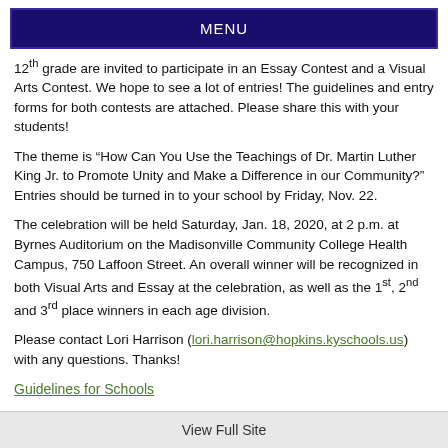MENU
12th grade are invited to participate in an Essay Contest and a Visual Arts Contest. We hope to see a lot of entries! The guidelines and entry forms for both contests are attached. Please share this with your students!
The theme is “How Can You Use the Teachings of Dr. Martin Luther King Jr. to Promote Unity and Make a Difference in our Community?” Entries should be turned in to your school by Friday, Nov. 22.
The celebration will be held Saturday, Jan. 18, 2020, at 2 p.m. at Byrnes Auditorium on the Madisonville Community College Health Campus, 750 Laffoon Street. An overall winner will be recognized in both Visual Arts and Essay at the celebration, as well as the 1st, 2nd and 3rd place winners in each age division.
Please contact Lori Harrison (lori.harrison@hopkins.kyschools.us) with any questions. Thanks!
Guidelines for Schools
View Full Site